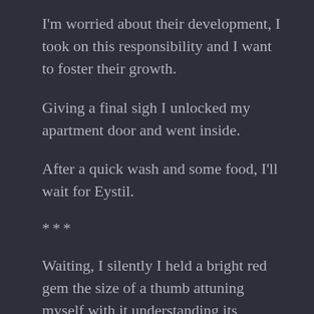I'm worried about their development, I took on this responsibility and I want to foster their growth.
Giving a final sigh I unlocked my apartment door and went inside.
After a quick wash and some food, I'll wait for Eystil.
***
Waiting, I silently I held a bright red gem the size of a thumb attuning myself with it understanding its properties. It was the laser-shooting third eye of a burning razor clawed gorilla that Erium had killed when we were